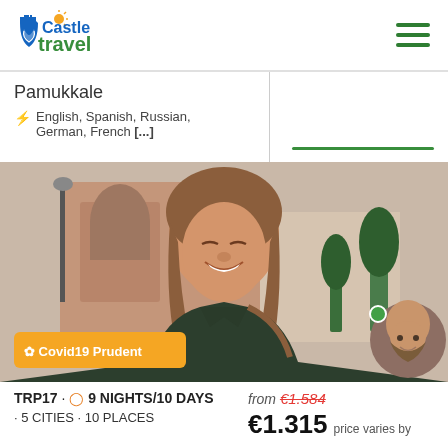Castle Travel
Pamukkale
English, Spanish, Russian, German, French [...]
[Figure (photo): Smiling young woman with long brown hair in front of a historic building, wearing a dark turtleneck jacket. Yellow badge reads: Covid19 Prudent. A guide avatar (bald man with beard) is visible in the bottom right.]
TRP17 · 9 NIGHTS/10 DAYS · 5 CITIES · 10 PLACES
from €1.584 €1.315 price varies by